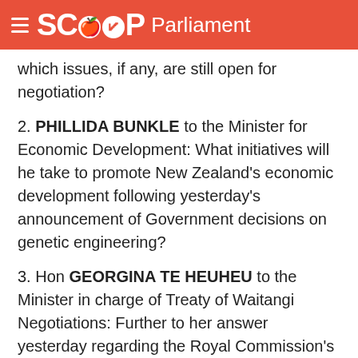SCOOP Parliament
which issues, if any, are still open for negotiation?
2. PHILLIDA BUNKLE to the Minister for Economic Development: What initiatives will he take to promote New Zealand's economic development following yesterday's announcement of Government decisions on genetic engineering?
3. Hon GEORGINA TE HEUHEU to the Minister in charge of Treaty of Waitangi Negotiations: Further to her answer yesterday regarding the Royal Commission's recommendations which made specific reference to the Treaty of Waitangi or Maori cultural issues, on what specific "matters" is the Government "currently